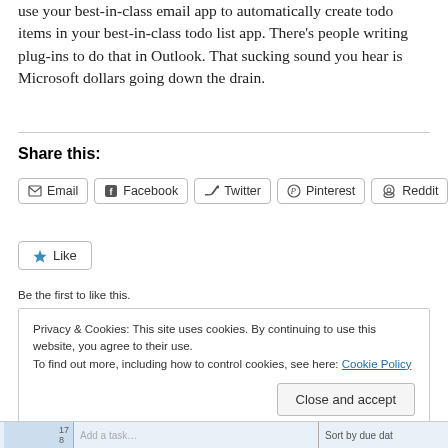use your best-in-class email app to automatically create todo items in your best-in-class todo list app. There's people writing plug-ins to do that in Outlook. That sucking sound you hear is Microsoft dollars going down the drain.
Share this:
Email  Facebook  Twitter  Pinterest  Reddit
Like
Be the first to like this.
Privacy & Cookies: This site uses cookies. By continuing to use this website, you agree to their use.
To find out more, including how to control cookies, see here: Cookie Policy
Close and accept